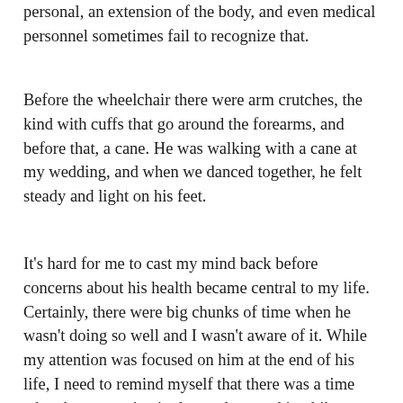personal, an extension of the body, and even medical personnel sometimes fail to recognize that.
Before the wheelchair there were arm crutches, the kind with cuffs that go around the forearms, and before that, a cane. He was walking with a cane at my wedding, and when we danced together, he felt steady and light on his feet.
It's hard for me to cast my mind back before concerns about his health became central to my life. Certainly, there were big chunks of time when he wasn't doing so well and I wasn't aware of it. While my attention was focused on him at the end of his life, I need to remind myself that there was a time when he was active in the outdoors, taking bike-camping trips and hiking the beautiful Pacific Northwest woods.